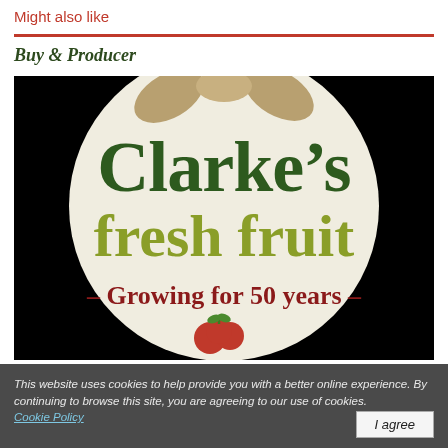Might also like
Buy & Producer
[Figure (logo): Clarke's fresh fruit logo — circular badge on black background. Large dark green serif text reads 'Clarke's' on top, below it olive/yellow-green text reads 'fresh fruit', and below that dark red text reads '– Growing for 50 years –'. A small red tomato illustration appears at the bottom. The circle has a cream/off-white background with tan feather/leaf motif at the top.]
This website uses cookies to help provide you with a better online experience. By continuing to browse this site, you are agreeing to our use of cookies. Cookie Policy
I agree